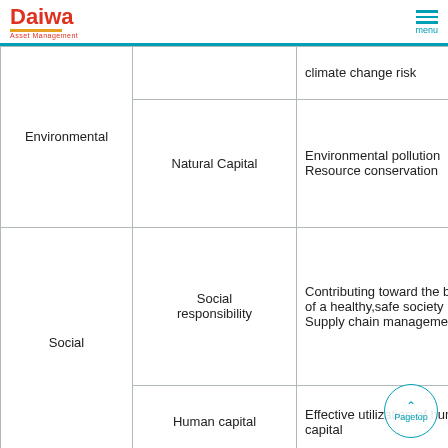Daiwa Asset Management
| Category | Sub-category | Details |
| --- | --- | --- |
| Environmental |  | climate change risk |
| Environmental | Natural Capital | Environmental pollution
Resource conservation |
| Social | Social responsibility | Contributing toward the building of a healthy,safe society
Supply chain management |
| Social | Human capital | Effective utilization of human capital |
| Governance (partial) | Measures aimed at ... | Governance framework
Risk management |